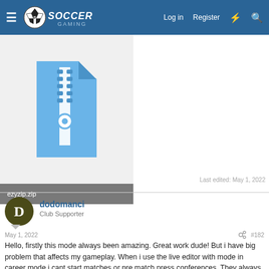Soccer Gaming | Log in | Register
[Figure (screenshot): ZIP file icon thumbnail for ezyzip.zip attachment]
ezyzip.zip
Last edited: May 1, 2022
dodomanci
Club Supporter
May 1, 2022  #182
Hello, firstly this mode always been amazing. Great work dude! But i have big problem that affects my gameplay. When i use the live editor with mode in career mode i cant start matches or pre match press conferences. They always stuck on purple fifa 22 background screen. When i try not injecting live editor i can play